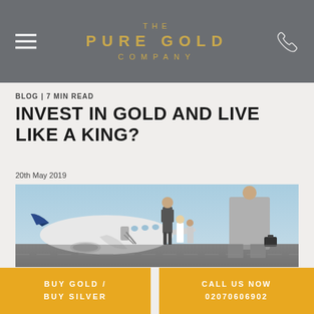THE PURE GOLD COMPANY
BLOG | 7 MIN READ
INVEST IN GOLD AND LIVE LIKE A KING?
20th May 2019
[Figure (photo): Business people in suits walking towards a private jet on a runway. A man in a grey suit and a woman in a grey dress/skirt carrying a briefcase are seen from behind approaching the aircraft.]
BUY GOLD / BUY SILVER
CALL US NOW 02070606902